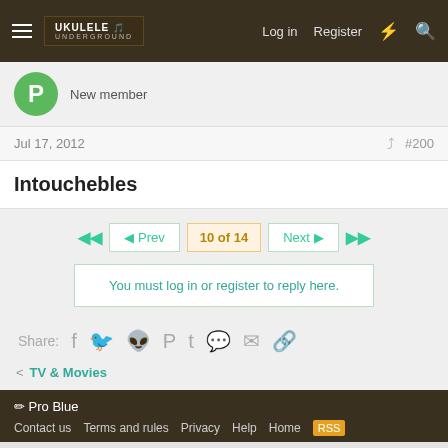Ukulele Underground — Log in | Register
New member
Jul 17, 2012  #200
Intouchebles
◄◄  ◄ Prev  10 of 14  Next ►  ►►
You must log in or register to reply here.
Share:
TV & Movies
✏ Pro Blue
Contact us  Terms and rules  Privacy  Help  Home  RSS
Community platform by XenForo® © 2010-2021 XenForo Ltd.